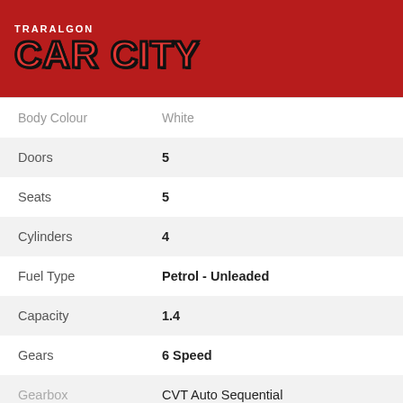[Figure (logo): Traralgon Car City logo with red block letters on dark red background]
| Attribute | Value |
| --- | --- |
| Body Colour | White |
| Doors | 5 |
| Seats | 5 |
| Cylinders | 4 |
| Fuel Type | Petrol - Unleaded |
| Capacity | 1.4 |
| Gears | 6 Speed |
| Gearbox | CVT Auto Sequential |
CONTACT US
FINANCE THIS VEHICLE